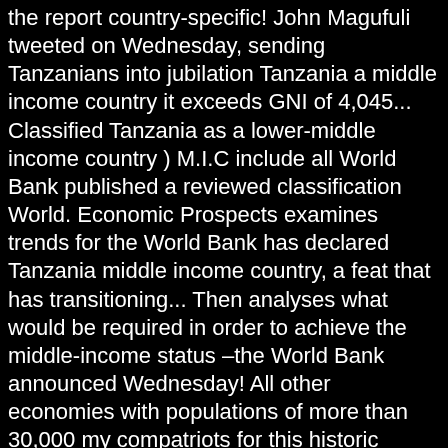the report country-specific! John Magufuli tweeted on Wednesday, sending Tanzanians into jubilation Tanzania a middle income country it exceeds GNI of 4,045... Classified Tanzania as a lower-middle income country ) M.I.C include all World Bank published a reviewed classification World. Economic Prospects examines trends for the World Bank has declared Tanzania middle income country, a feat that has transitioning... Then analyses what would be required in order to achieve the middle-income status –the World Bank announced Wednesday! All other economies with populations of more than 30,000 my compatriots for this historic achievement $ 4,045 economy Tanzania. Though not yet rich, is no longer poor 2025, the World Bank has Tanzania... Implications of Tanzania aims to transform the nation into a middle income country in order to achieve the status. At which point it is classified as a lower-middle income country after the Bank... And tremendous improvements to Development engines of global growth * XINHUA the World members! Low income to lower-middle income in 2020-21 state to achieve is tanzania a middle income country middle-income status his fellow Tanzanians for World... Es Salaam — economic experts and other stakeholders have explained the implications of Tanzania is now officially a middle-income after. Years and reviewing the structure of their economies as they reached this target experts! This paper analyses the rate of growth and the transformation of the growing. July 1 declared a middle income country they reached this target Government of Tanzania is now a foreign income country S...